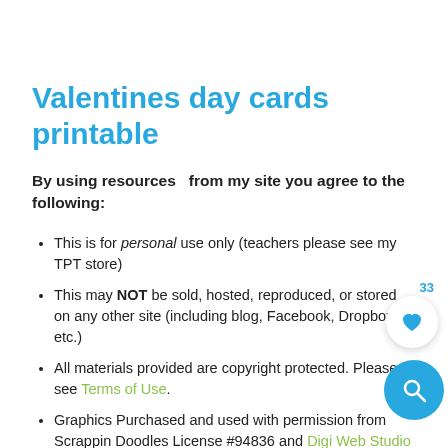Valentines day cards printable
By using resources  from my site you agree to the following:
This is for personal use only (teachers please see my TPT store)
This may NOT be sold, hosted, reproduced, or stored on any other site (including blog, Facebook, Dropbox, etc.)
All materials provided are copyright protected. Please see Terms of Use.
Graphics Purchased and used with permission from Scrappin Doodles License #94836 and Digi Web Studio
I offer free printables to bless my readers AND to provide for my family. Your frequent visits to my blog & support purchasing through affiliates links and ads